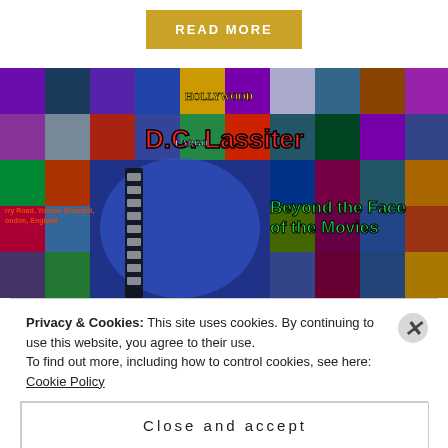[Figure (screenshot): READ MORE button in gold/amber color at top center of page]
[Figure (screenshot): D.C. Lassiter website banner with movie poster collage background showing text 'D.C. Lassiter' in red and 'Beyond the Face of the Movies' in green]
Privacy & Cookies: This site uses cookies. By continuing to use this website, you agree to their use.
To find out more, including how to control cookies, see here: Cookie Policy
Close and accept